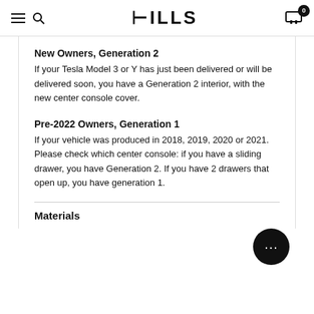HILLS
New Owners, Generation 2
If your Tesla Model 3 or Y has just been delivered or will be delivered soon, you have a Generation 2 interior, with the new center console cover.
Pre-2022 Owners, Generation 1
If your vehicle was produced in 2018, 2019, 2020 or 2021. Please check which center console: if you have a sliding drawer, you have Generation 2. If you have 2 drawers that open up, you have generation 1.
Materials